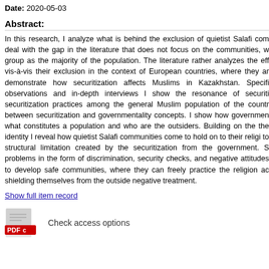Date: 2020-05-03
Abstract:
In this research, I analyze what is behind the exclusion of quietist Salafi com deal with the gap in the literature that does not focus on the communities, w group as the majority of the population. The literature rather analyzes the eff vis-à-vis their exclusion in the context of European countries, where they ar demonstrate how securitization affects Muslims in Kazakhstan. Specifi observations and in-depth interviews I show the resonance of securiti securitization practices among the general Muslim population of the countr between securitization and governmentality concepts. I show how governmen what constitutes a population and who are the outsiders. Building on the the identity I reveal how quietist Salafi communities come to hold on to their religi to structural limitation created by the securitization from the government. S problems in the form of discrimination, security checks, and negative attitudes to develop safe communities, where they can freely practice the religion ac shielding themselves from the outside negative treatment.
Show full item record
Check access options